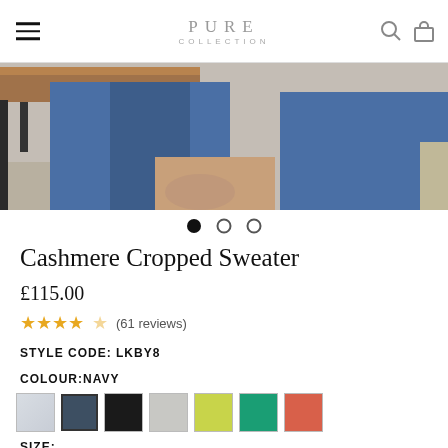PURE COLLECTION
[Figure (photo): Product photo showing a person wearing blue jeans, seated, with hands resting on lap, partial view from waist down]
● ○ ○
Cashmere Cropped Sweater
£115.00
★★★★☆ (61 reviews)
STYLE CODE: LKBY8
COLOUR:NAVY
[Figure (illustration): Row of 7 color swatches: light blue/silver, navy (selected), black, light grey, lime green, teal/green, coral/salmon]
SIZE: